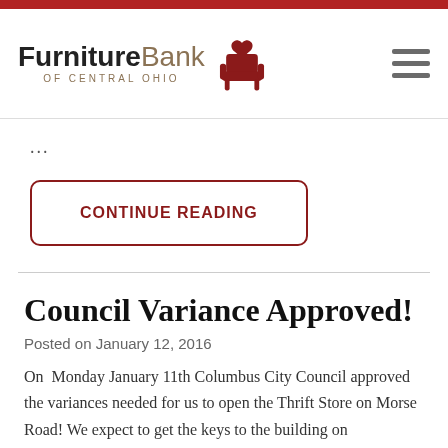Furniture Bank of Central Ohio
...
CONTINUE READING
Council Variance Approved!
Posted on January 12, 2016
On  Monday January 11th Columbus City Council approved the variances needed for us to open the Thrift Store on Morse Road! We expect to get the keys to the building on Wednesday and start renovating! We are